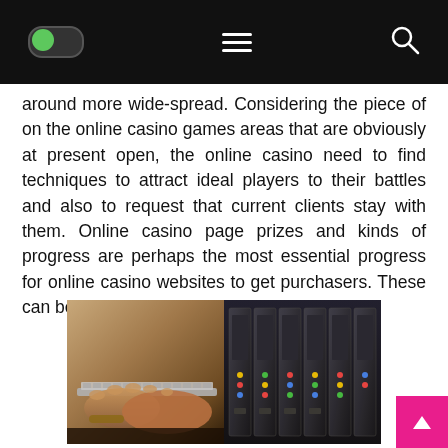[Navigation bar with toggle, hamburger menu, and search icon]
around more wide-spread. Considering the piece of on the online casino games areas that are obviously at present open, the online casino need to find techniques to attract ideal players to their battles and also to request that current clients stay with them. Online casino page prizes and kinds of progress are perhaps the most essential progress for online casino websites to get purchasers. These can be found in different plans and sizes.
[Figure (photo): Photo showing hands typing on a laptop keyboard on the left side, and a row of slot machines in a casino on the right side.]